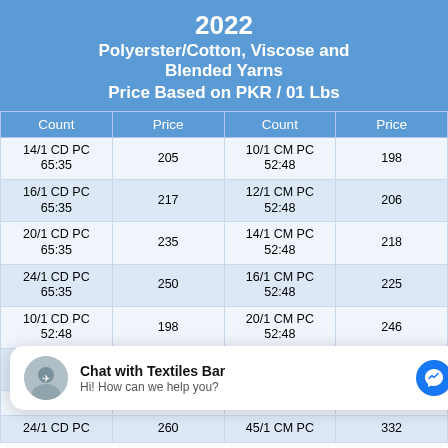2022 Polyerster/Cotton, Viscose and Blended Yarns Price Based on PKR / 01 Lbs
| Count | Price | Count | Price |
| --- | --- | --- | --- |
| 14/1 CD PC 65:35 | 205 | 10/1 CM PC 52:48 | 198 |
| 16/1 CD PC 65:35 | 217 | 12/1 CM PC 52:48 | 206 |
| 20/1 CD PC 65:35 | 235 | 14/1 CM PC 52:48 | 218 |
| 24/1 CD PC 65:35 | 250 | 16/1 CM PC 52:48 | 225 |
| 10/1 CD PC 52:48 | 198 | 20/1 CM PC 52:48 | 246 |
| 12/1 CD PC 52:48 | 200 | 24/1 CM PC 52:48 | 266 |
| 16/1 CD PC … |  | 30/1 CM PC … |  |
| 24/1 CD PC | 260 | 45/1 CM PC | 332 |
[Figure (screenshot): Facebook Messenger chat widget overlay: 'Chat with Textiles Bar' — 'Hi! How can we help you?']